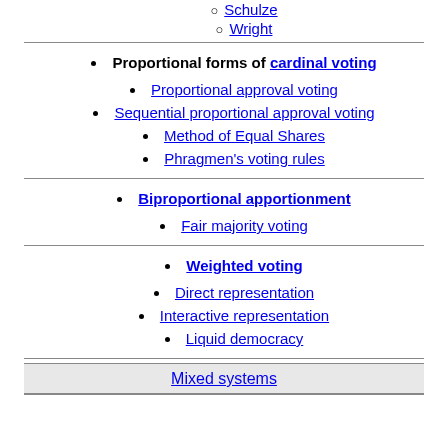Schulze
Wright
Proportional forms of cardinal voting
Proportional approval voting
Sequential proportional approval voting
Method of Equal Shares
Phragmen's voting rules
Biproportional apportionment
Fair majority voting
Weighted voting
Direct representation
Interactive representation
Liquid democracy
Mixed systems